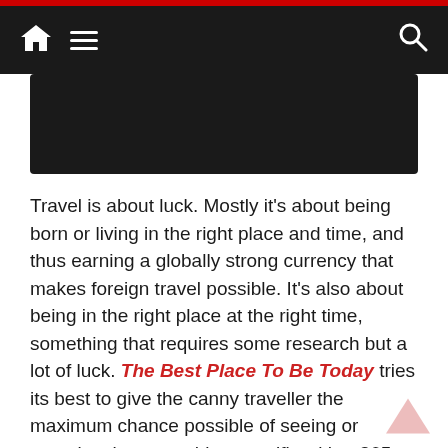Navigation bar with home icon, hamburger menu, and search icon
[Figure (photo): Dark/black image area below navigation bar]
Travel is about luck. Mostly it's about being born or living in the right place and time, and thus earning a globally strong currency that makes foreign travel possible. It's also about being in the right place at the right time, something that requires some research but a lot of luck. The Best Place To Be Today tries its best to give the canny traveller the maximum chance possible of seeing or experiencing something specific with a 365-day list of what to do and when.It's all here, from pilgrimages to temples and festivals to a visit to Glastonbury Festival and an animal migration (the latter two are surprisingly similar events, but only